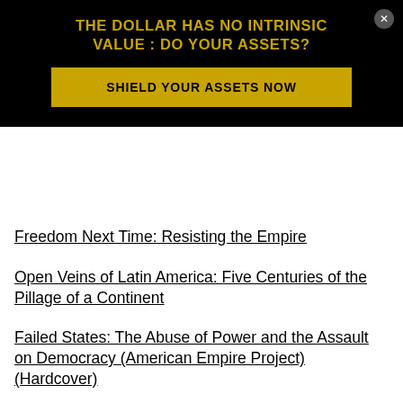[Figure (infographic): Black advertisement overlay with gold text reading 'THE DOLLAR HAS NO INTRINSIC VALUE : DO YOUR ASSETS?' and a gold button 'SHIELD YOUR ASSETS NOW' with a close button in top right corner]
Freedom Next Time: Resisting the Empire
Open Veins of Latin America: Five Centuries of the Pillage of a Continent
Failed States: The Abuse of Power and the Assault on Democracy (American Empire Project) (Hardcover)
Overthrow: America's Century of Regime Change from Hawaii to Iraq (Hardcover)
Breaking the Real Axis of Evil: How to Oust the World's Last Dictators by 2025
Wars of Blood and Faith–The Conflicts That Will Shape the 21st Century